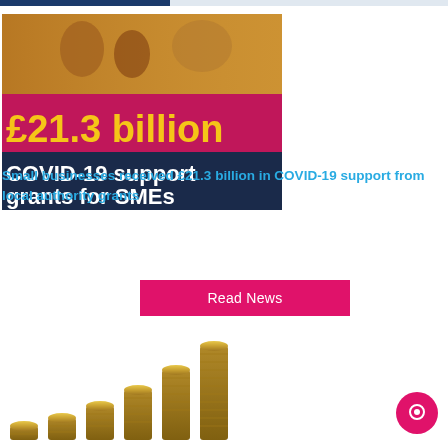[Figure (photo): Banner image showing £21.3 billion COVID-19 support grants for SMEs — dark navy and magenta background with large yellow/gold text '£21.3 billion' and white text 'COVID-19 support grants for SMEs', with people visible in background]
Small businesses received £21.3 billion in COVID-19 support from local authority grants
Read News
[Figure (photo): Stacked gold coins arranged in ascending height from left to right, resembling a bar chart growth pattern]